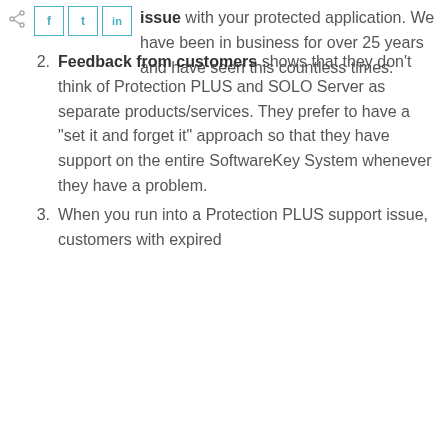issue with your protected application. We have been in business for over 25 years and have seen this countless times.
Feedback from customers shows that they don't think of Protection PLUS and SOLO Server as separate products/services. They prefer to have a "set it and forget it" approach so that they have support on the entire SoftwareKey System whenever they have a problem.
When you run into a Protection PLUS support issue, customers with expired